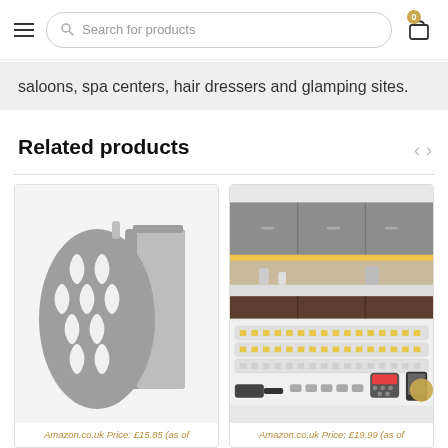Search for products | Cart (0)
saloons, spa centers, hair dressers and glamping sites.
Related products
[Figure (photo): Grey oven mitt with moroccan pattern and grey kitchen towels]
Amazon.co.uk Price: £15.85 (as of
[Figure (photo): LED strip lights kit shown installed under kitchen cabinets and components laid out]
Amazon.co.uk Price: £19.99 (as of